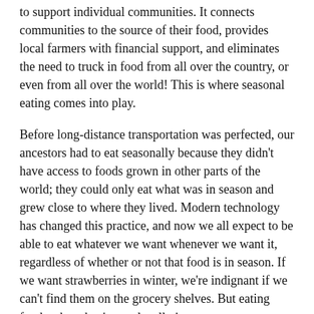to support individual communities. It connects communities to the source of their food, provides local farmers with financial support, and eliminates the need to truck in food from all over the country, or even from all over the world! This is where seasonal eating comes into play.
Before long-distance transportation was perfected, our ancestors had to eat seasonally because they didn't have access to foods grown in other parts of the world; they could only eat what was in season and grew close to where they lived. Modern technology has changed this practice, and now we all expect to be able to eat whatever we want whenever we want it, regardless of whether or not that food is in season. If we want strawberries in winter, we're indignant if we can't find them on the grocery shelves. But eating foods when they're not locally in season means transporting them from other areas around the world where they're currently growing.
How often do you see a sticker on your avocado that says "Mexico," or a bag of pre-washed greens that says "grown in California"? Unless you live in either of those places, you're eating produce that had to endure miles and miles of delivery time, which guzzles thousands of gallons of gasoline. Unlike the industrial food industry, local food is sustainable because it doesn't require the depletion of fossil fuels in the transportation process. The world's supply of